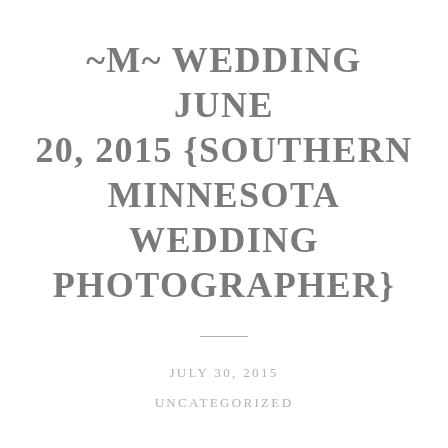~M~ WEDDING JUNE 20, 2015 {SOUTHERN MINNESOTA WEDDING PHOTOGRAPHER}
JULY 30, 2015
UNCATEGORIZED